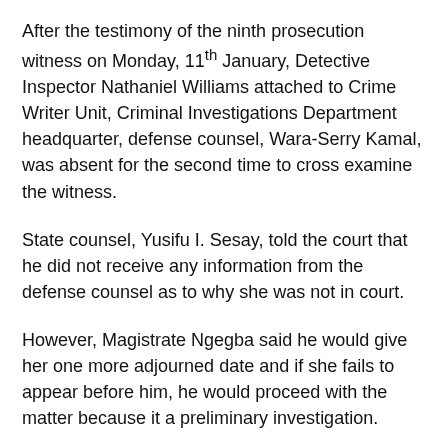After the testimony of the ninth prosecution witness on Monday, 11th January, Detective Inspector Nathaniel Williams attached to Crime Writer Unit, Criminal Investigations Department headquarter, defense counsel, Wara-Serry Kamal, was absent for the second time to cross examine the witness.
State counsel, Yusifu I. Sesay, told the court that he did not receive any information from the defense counsel as to why she was not in court.
However, Magistrate Ngegba said he would give her one more adjourned date and if she fails to appear before him, he would proceed with the matter because it a preliminary investigation.
buy cialis super active online blackmenheal.org/wp-content/themes/twentytwentytwo/inc/patterns/new/cialis-